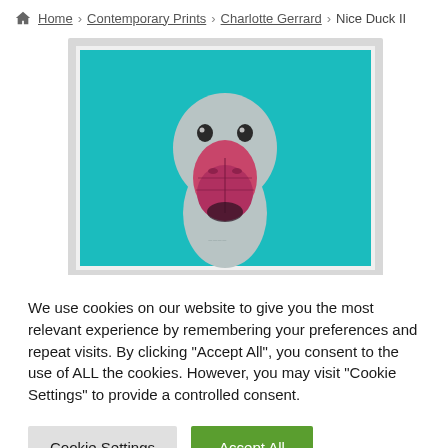Home > Contemporary Prints > Charlotte Gerrard > Nice Duck II
[Figure (illustration): Artwork print showing a duck close-up facing forward against a teal/turquoise background, with a pink/magenta beak, grey-white body, pop-art style. Framed in white.]
We use cookies on our website to give you the most relevant experience by remembering your preferences and repeat visits. By clicking “Accept All”, you consent to the use of ALL the cookies. However, you may visit "Cookie Settings" to provide a controlled consent.
Cookie Settings
Accept All